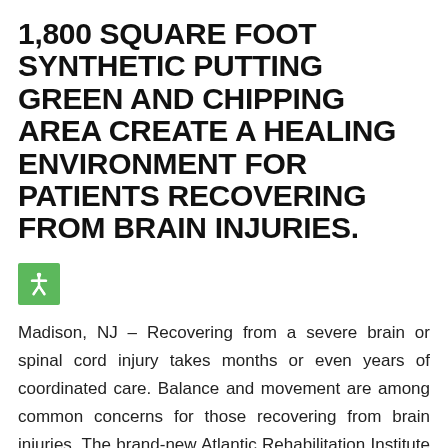1,800 SQUARE FOOT SYNTHETIC PUTTING GREEN AND CHIPPING AREA CREATE A HEALING ENVIRONMENT FOR PATIENTS RECOVERING FROM BRAIN INJURIES.
[Figure (illustration): Green square icon with a white accessibility/person figure symbol]
Madison, NJ – Recovering from a severe brain or spinal cord injury takes months or even years of coordinated care. Balance and movement are among common concerns for those recovering from brain injuries. The brand-new Atlantic Rehabilitation Institute from Atlantic Health System and Kindred Healthcare, also known as the Mt. Kemble Rehab Center, was designed